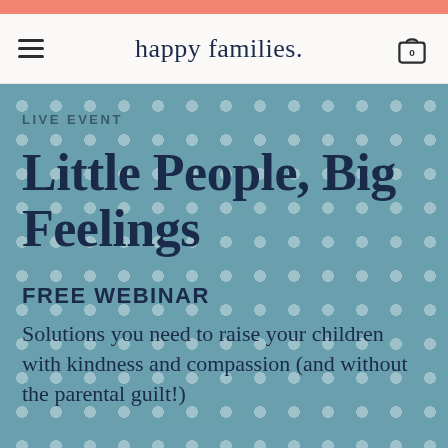happy families
LIVE EVENT
Little People, Big Feelings
FREE WEBINAR
Solutions you need to raise your children with kindness and compassion (and without the parental guilt!)